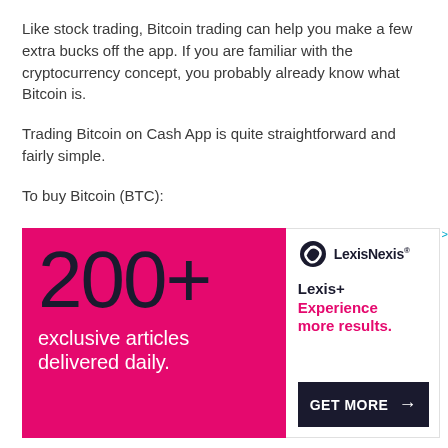Like stock trading, Bitcoin trading can help you make a few extra bucks off the app. If you are familiar with the cryptocurrency concept, you probably already know what Bitcoin is.
Trading Bitcoin on Cash App is quite straightforward and fairly simple.
To buy Bitcoin (BTC):
[Figure (infographic): LexisNexis advertisement banner. Left side: pink/magenta background with large dark text '200+' and white text 'exclusive articles delivered daily.' Right side: white background with LexisNexis logo, text 'Lexis+ Experience more results.' and a dark navy 'GET MORE' button with arrow.]